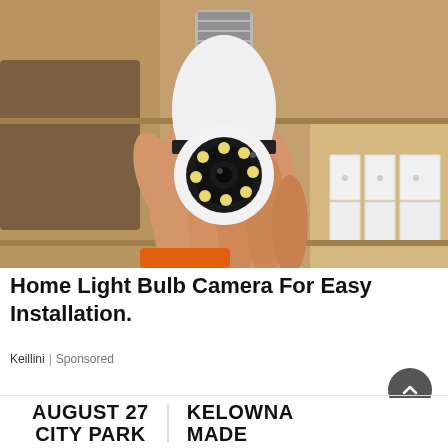[Figure (photo): A hand holding a white light bulb security camera with LED ring, screw base visible at top, against a beige/tan shelving background. Person wearing orange wristband visible at bottom left.]
Home Light Bulb Camera For Easy Installation.
Keillini | Sponsored
[Figure (infographic): Event banner text reading 'AUGUST 27 CITY PARK' on left and 'KELOWNA MADE' on right, white background with bold black lettering.]